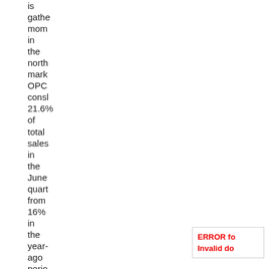is gathe mom in the north mark OPC consl 21.6% of total sales in the June quart from 16% in the year-ago perio They said even
ERROR fo Invalid do